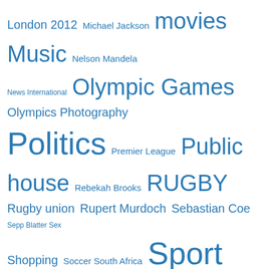London 2012 Michael Jackson movies Music Nelson Mandela News International Olympic Games Olympics Photography Politics Premier League Public house Rebekah Brooks RUGBY Rugby union Rupert Murdoch Sebastian Coe Sepp Blatter Sex Shopping Soccer South Africa Sport Sports Stuart Broad T-shirt Television Test cricket tv uk United States Wales World Cup
Privacy & Cookies: This site uses cookies. By continuing to use this website, you agree to their use. To find out more, including how to control cookies, see here: Cookie Policy
Close and accept